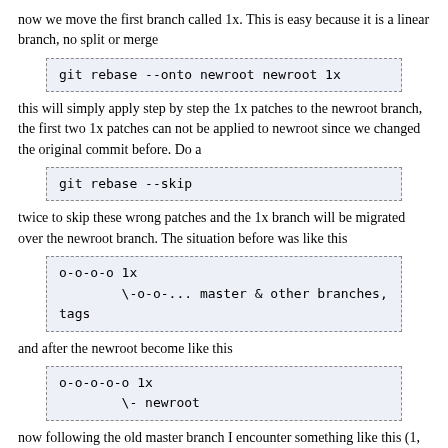now we move the first branch called 1x. This is easy because it is a linear branch, no split or merge
[Figure (screenshot): Code block: git rebase --onto newroot newroot 1x]
this will simply apply step by step the 1x patches to the newroot branch, the first two 1x patches can not be applied to newroot since we changed the original commit before. Do a
[Figure (screenshot): Code block: git rebase --skip]
twice to skip these wrong patches and the 1x branch will be migrated over the newroot branch. The situation before was like this
[Figure (screenshot): Code block: o-o-o-o 1x
        \-o-o-... master & other branches, tags]
and after the newroot become like this
[Figure (screenshot): Code block: o-o-o-o-o 1x
        \- newroot]
now following the old master branch I encounter something like this (1, 2, 3 are patches, M is a merge)